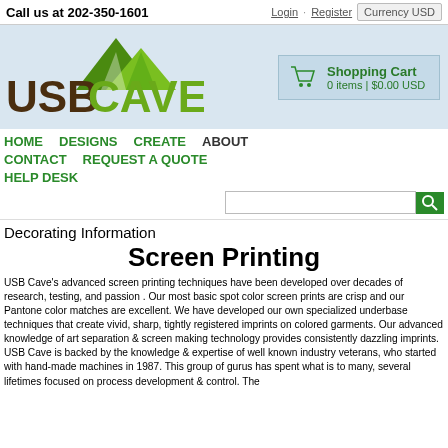Call us at 202-350-1601
[Figure (logo): USB Cave logo with mountain graphic icon in green, 'USB' in brown bold text and 'CAVE' in green bold text]
Shopping Cart
0 items | $0.00 USD
HOME  DESIGNS  CREATE  ABOUT  CONTACT  REQUEST A QUOTE  HELP DESK
Decorating Information
Screen Printing
USB Cave's advanced screen printing techniques have been developed over decades of research, testing, and passion . Our most basic spot color screen prints are crisp and our Pantone color matches are excellent. We have developed our own specialized underbase techniques that create vivid, sharp, tightly registered imprints on colored garments. Our advanced knowledge of art separation & screen making technology provides consistently dazzling imprints. USB Cave  is backed by the knowledge & expertise of  well known industry veterans, who started with hand-made machines in 1987. This group of gurus has spent what is to many, several lifetimes focused on process development & control. The result is winning dozens of screen printing awards from SGIA & Impressions Magazine.